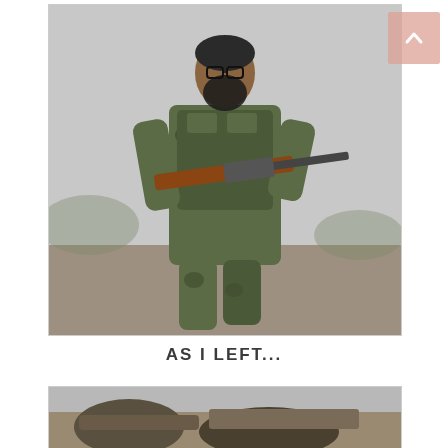[Figure (photo): A soldier in camouflage fatigues and body armor holding a rifle, walking forward against a grey sky background.]
AS I LEFT...
[Figure (photo): Partial view of a military vehicle or equipment, cropped at the bottom of the page.]